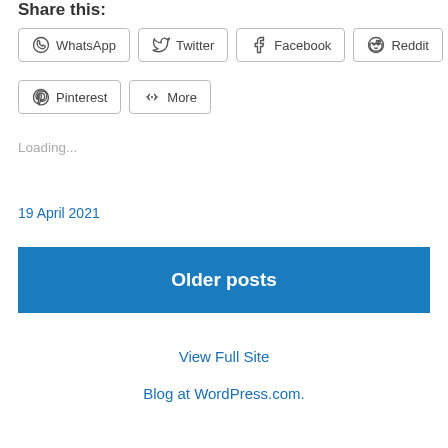Share this:
WhatsApp  Twitter  Facebook  Reddit  Pinterest  More
Loading...
19 April 2021
Older posts
View Full Site
Blog at WordPress.com.